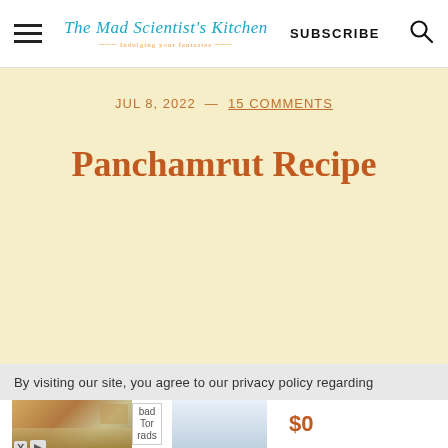The Mad Scientist's Kitchen | SUBSCRIBE
JUL 8, 2022 — 15 COMMENTS
Panchamrut Recipe
By visiting our site, you agree to our privacy policy regarding
[Figure (photo): Advertisement images showing bedroom/home decor products with price tag $0]